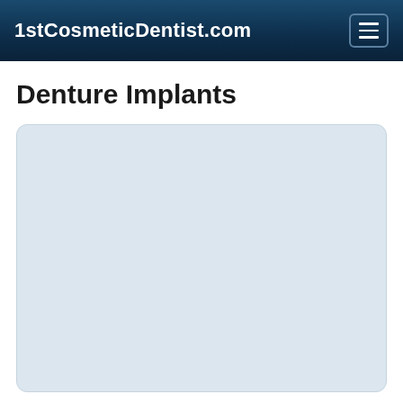1stCosmeticDentist.com
Denture Implants
[Figure (photo): Light blue-gray placeholder image area for denture implants content, with rounded corners]